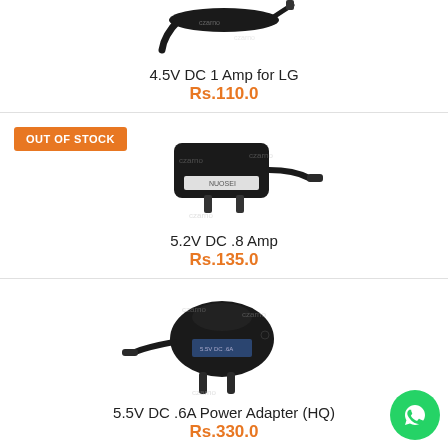[Figure (photo): Black DC power adapter cable with connector tip, partially cropped at top]
4.5V DC 1 Amp for LG
Rs.110.0
OUT OF STOCK
[Figure (photo): Black 5.2V DC 0.8 Amp wall plug power adapter with cable and connector tip]
5.2V DC .8 Amp
Rs.135.0
[Figure (photo): Black 5.5V DC 0.6A power adapter (HQ) with two pins and connector tip]
5.5V DC .6A Power Adapter (HQ)
Rs.330.0